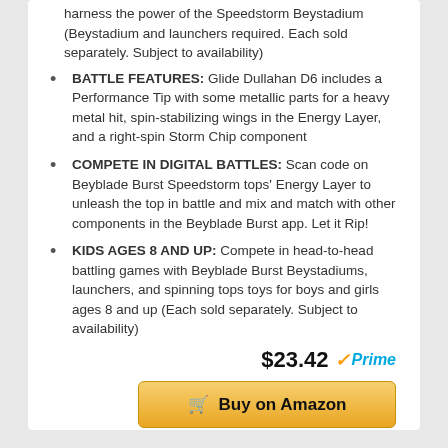harness the power of the Speedstorm Beystadium (Beystadium and launchers required. Each sold separately. Subject to availability)
BATTLE FEATURES: Glide Dullahan D6 includes a Performance Tip with some metallic parts for a heavy metal hit, spin-stabilizing wings in the Energy Layer, and a right-spin Storm Chip component
COMPETE IN DIGITAL BATTLES: Scan code on Beyblade Burst Speedstorm tops' Energy Layer to unleash the top in battle and mix and match with other components in the Beyblade Burst app. Let it Rip!
KIDS AGES 8 AND UP: Compete in head-to-head battling games with Beyblade Burst Beystadiums, launchers, and spinning tops toys for boys and girls ages 8 and up (Each sold separately. Subject to availability)
$23.42 Prime
Buy on Amazon